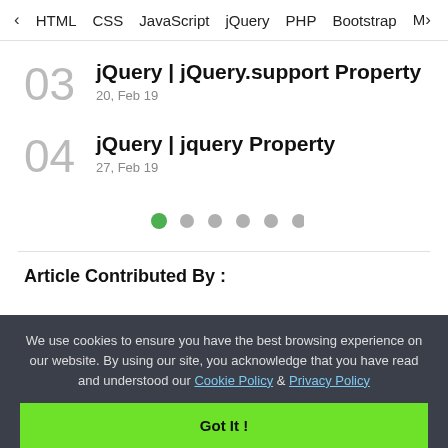< HTML  CSS  JavaScript  jQuery  PHP  Bootstrap  M>
03  jQuery | jQuery.support Property  20, Feb 19
04  jQuery | jquery Property  27, Feb 19
[Figure (other): Pagination dots: 6 dots, first one active (green), rest grey]
Article Contributed By :
We use cookies to ensure you have the best browsing experience on our website. By using our site, you acknowledge that you have read and understood our Cookie Policy & Privacy Policy
Got It !